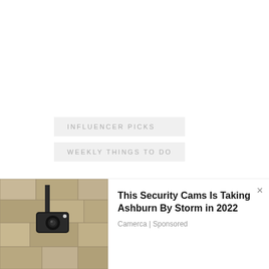INFLUENCER PICKS
WEEKLY THINGS TO DO
[Figure (photo): Circular portrait photo of Brian Champlin, a man with dark hair and beard looking slightly to the side]
BRIAN CHAMPLIN
Brian is the co-founder
[Figure (photo): Advertisement photo showing an outdoor security camera mounted on a stone wall]
This Security Cams Is Taking Ashburn By Storm in 2022
Camerca | Sponsored